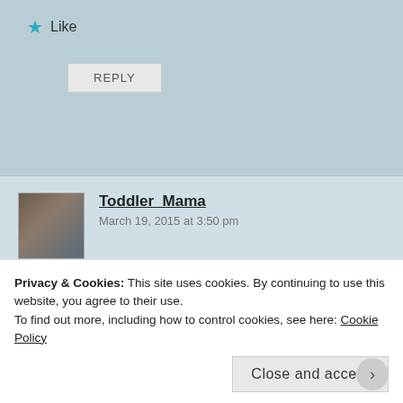★ Like
REPLY
Toddler_Mama
March 19, 2015 at 3:50 pm
You're awesome, and you're in! This will be the best club EVER!
★ Liked by 1 person
REPLY
Privacy & Cookies: This site uses cookies. By continuing to use this website, you agree to their use.
To find out more, including how to control cookies, see here: Cookie Policy
Close and accept